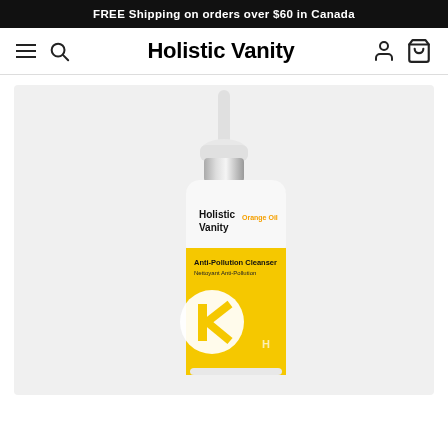FREE Shipping on orders over $60 in Canada
Holistic Vanity
[Figure (photo): Holistic Vanity Anti-Pollution Cleanser product bottle with pump dispenser. White bottle with yellow label featuring 'Holistic Vanity' branding, a silver chrome pump top, and text reading 'Anti-Pollution Cleanser / Nettoyant Anti-Pollution' with a large circular logo graphic on the yellow section.]